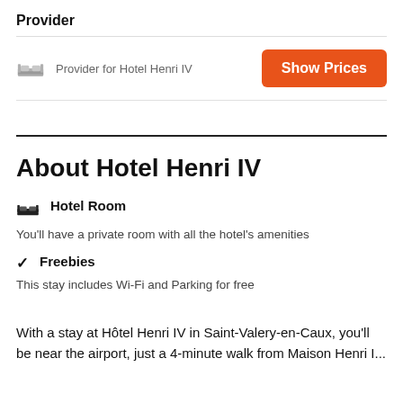Provider
Provider for Hotel Henri IV
Show Prices
About Hotel Henri IV
Hotel Room
You'll have a private room with all the hotel's amenities
Freebies
This stay includes Wi-Fi and Parking for free
With a stay at Hôtel Henri IV in Saint-Valery-en-Caux, you'll be near the airport, just a 4-minute walk from Maison Henri I...